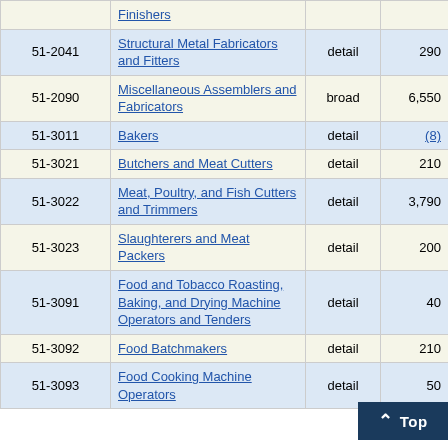| Code | Occupation | Level | Employment | ... |
| --- | --- | --- | --- | --- |
|  | Finishers |  |  |  |
| 51-2041 | Structural Metal Fabricators and Fitters | detail | 290 | 6... |
| 51-2090 | Miscellaneous Assemblers and Fabricators | broad | 6,550 | 4... |
| 51-3011 | Bakers | detail | (8) |  |
| 51-3021 | Butchers and Meat Cutters | detail | 210 | 6... |
| 51-3022 | Meat, Poultry, and Fish Cutters and Trimmers | detail | 3,790 | 1... |
| 51-3023 | Slaughterers and Meat Packers | detail | 200 | 15... |
| 51-3091 | Food and Tobacco Roasting, Baking, and Drying Machine Operators and Tenders | detail | 40 | 10... |
| 51-3092 | Food Batchmakers | detail | 210 | 7... |
| 51-3093 | Food Cooking Machine Operators | detail | 50... |  |